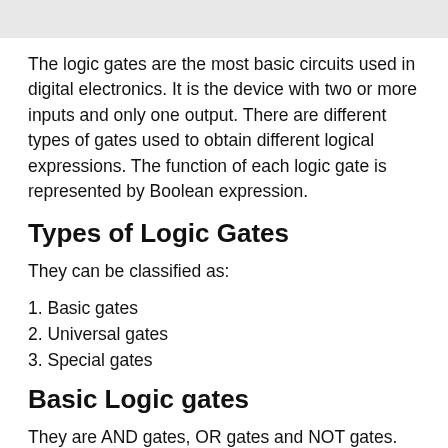The logic gates are the most basic circuits used in digital electronics. It is the device with two or more inputs and only one output. There are different types of gates used to obtain different logical expressions. The function of each logic gate is represented by Boolean expression.
Types of Logic Gates
They can be classified as:
1. Basic gates
2. Universal gates
3. Special gates
Basic Logic gates
They are AND gates, OR gates and NOT gates.